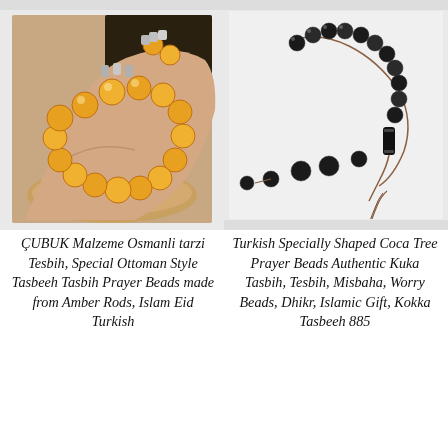[Figure (photo): A hand holding yellow/amber round prayer beads (tasbih/misbaha) with silver accents, photographed against a dark background.]
[Figure (photo): Black Kuka/Coca Tree prayer beads (tasbih/misbaha) with dark cylindrical spacer and brown tassel cord, photographed on white background.]
ÇUBUK Malzeme Osmanli tarzi Tesbih, Special Ottoman Style Tasbeeh Tasbih Prayer Beads made from Amber Rods, Islam Eid Turkish
Turkish Specially Shaped Coca Tree Prayer Beads Authentic Kuka Tasbih, Tesbih, Misbaha, Worry Beads, Dhikr, Islamic Gift, Kokka Tasbeeh 885